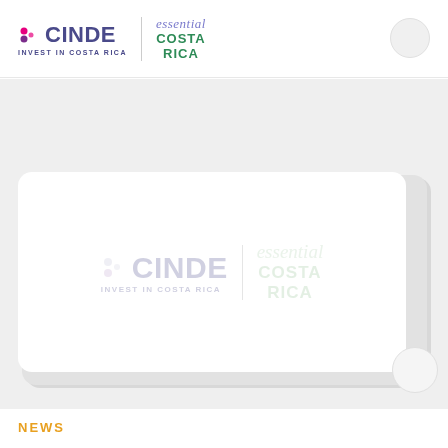CINDE INVEST IN COSTA RICA | essential COSTA RICA
Essential News
[Figure (logo): CINDE Invest in Costa Rica and Essential Costa Rica logos displayed on a white card with depth/shadow effect, faded appearance]
NEWS